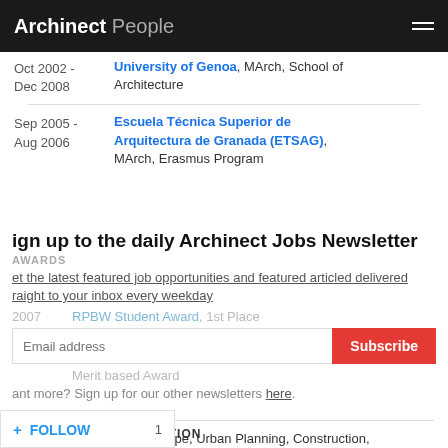Archinect People
Oct 2002 – Dec 2008   University of Genoa, MArch, School of Architecture
Sep 2005 - Aug 2006   Escuela Técnica Superior de Arquitectura de Granada (ETSAG), MArch, Erasmus Program
Sign up to the daily Archinect Jobs Newsletter
AWARDS
Get the latest featured job opportunities and featured articled delivered straight to your inbox every weekday
2007   RPBW Student Award, 1st Place
Merit based Award
Want more? Sign up for our other newsletters here.
AREAS OF SPECIALIZATION
Architecture, Landscape, Urban Planning, Construction,